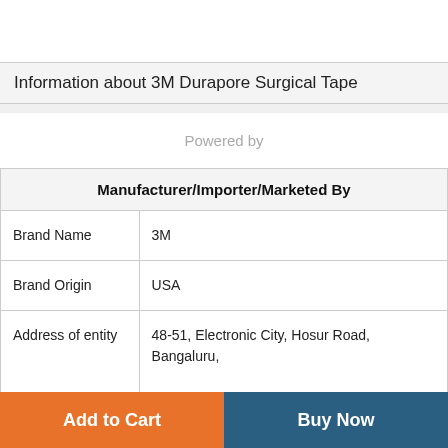Information about 3M Durapore Surgical Tape
Powered by
| Manufacturer/Importer/Marketed By |
| --- |
| Brand Name | 3M |
| Brand Origin | USA |
| Address of entity | 48-51, Electronic City, Hosur Road, Bangaluru, Karnataka |
| India Helpline Number | 1800 425 3030 |
Add to Cart
Buy Now